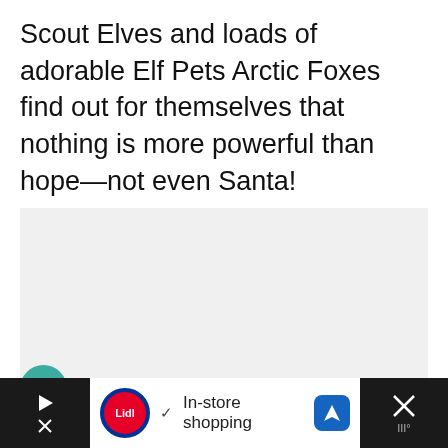Scout Elves and loads of adorable Elf Pets Arctic Foxes find out for themselves that nothing is more powerful than hope—not even Santa!
[Figure (photo): Large image placeholder area (light gray) showing an embedded media player or image carousel with three navigation dots]
[Figure (screenshot): Ad banner at the bottom showing Lidl logo, play and close icons on black bars, and text 'In-store shopping' with checkmark, plus a navigation/maps icon]